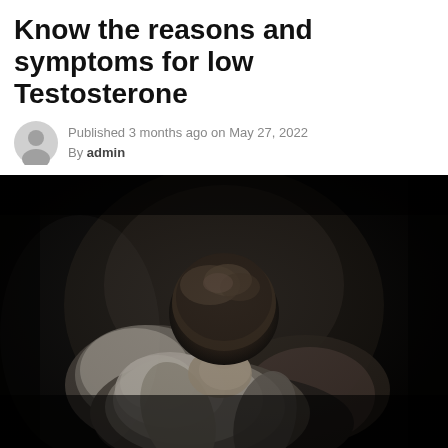Know the reasons and symptoms for low Testosterone
Published 3 months ago on May 27, 2022
By admin
[Figure (photo): A man in a white t-shirt sitting with his head bowed down and his face buried in his hands, photographed against a dark black background with dramatic side lighting.]